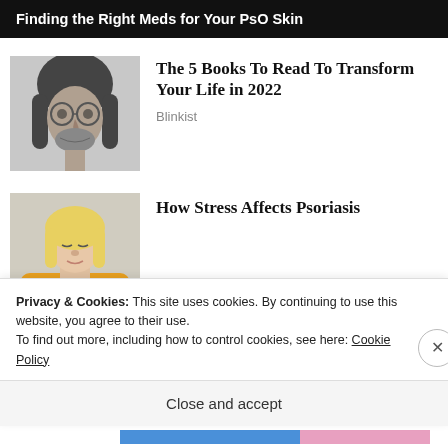Finding the Right Meds for Your PsO Skin
[Figure (photo): Black and white photo of a young man with long hair and round glasses]
The 5 Books To Read To Transform Your Life in 2022
Blinkist
[Figure (photo): Photo of a blonde woman in a yellow sweater looking down]
How Stress Affects Psoriasis
Privacy & Cookies: This site uses cookies. By continuing to use this website, you agree to their use.
To find out more, including how to control cookies, see here: Cookie Policy
Close and accept